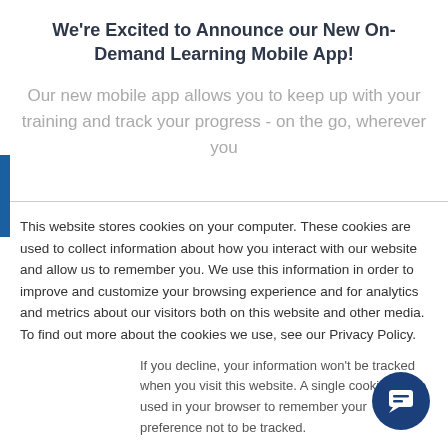We're Excited to Announce our New On-Demand Learning Mobile App!
Our new mobile app allows you to keep up with your training and track your progress - on the go, wherever you
This website stores cookies on your computer. These cookies are used to collect information about how you interact with our website and allow us to remember you. We use this information in order to improve and customize your browsing experience and for analytics and metrics about our visitors both on this website and other media. To find out more about the cookies we use, see our Privacy Policy.
If you decline, your information won't be tracked when you visit this website. A single cookie will be used in your browser to remember your preference not to be tracked.